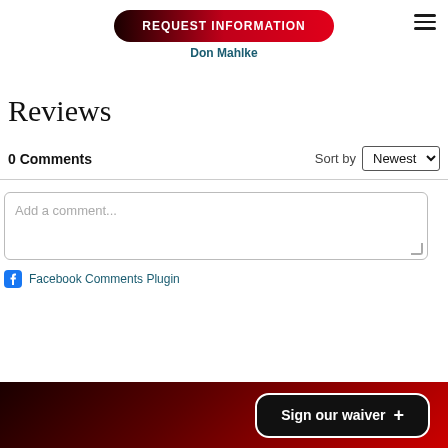REQUEST INFORMATION
Don Mahlke
Reviews
0 Comments
Sort by Newest
Add a comment...
Facebook Comments Plugin
Sign our waiver +